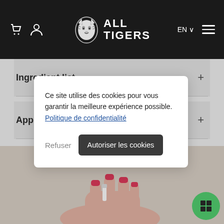ALL TIGERS — navigation header with cart, user, language EN, and hamburger menu
Ingredient list +
Applications +
Ce site utilise des cookies pour vous garantir la meilleure expérience possible. Politique de confidentialité
Refuser
Autoriser les cookies
[Figure (screenshot): Bottom portion of page showing a hand holding a nail polish product against a beige background]